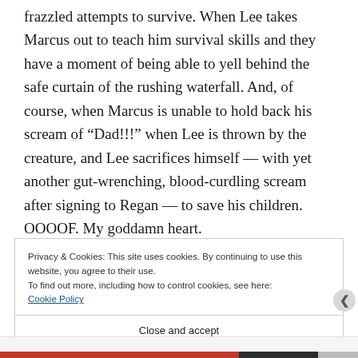frazzled attempts to survive. When Lee takes Marcus out to teach him survival skills and they have a moment of being able to yell behind the safe curtain of the rushing waterfall. And, of course, when Marcus is unable to hold back his scream of “Dad!!!” when Lee is thrown by the creature, and Lee sacrifices himself — with yet another gut-wrenching, blood-curdling scream after signing to Regan — to save his children. OOOOF. My goddamn heart.
Privacy & Cookies: This site uses cookies. By continuing to use this website, you agree to their use.
To find out more, including how to control cookies, see here: Cookie Policy
Close and accept